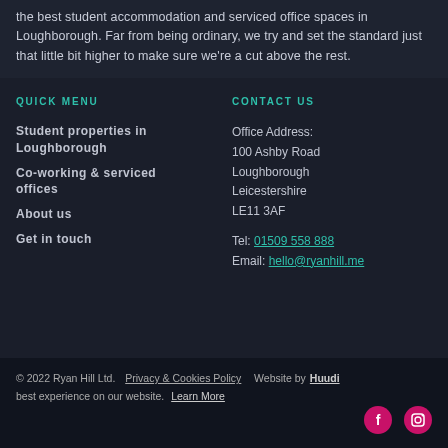the best student accommodation and serviced office spaces in Loughborough. Far from being ordinary, we try and set the standard just that little bit higher to make sure we're a cut above the rest.
QUICK MENU
CONTACT US
Student properties in Loughborough
Co-working & serviced offices
About us
Get in touch
Office Address:
100 Ashby Road
Loughborough
Leicestershire
LE11 3AF
Tel: 01509 558 888
Email: hello@ryanhill.me
© 2022 Ryan Hill Ltd.  Privacy & Cookies Policy   Website by Huudi
best experience on our website.  Learn More